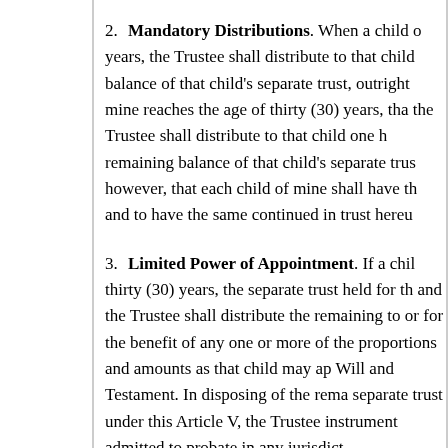2. Mandatory Distributions. When a child of years, the Trustee shall distribute to that child balance of that child's separate trust, outright mine reaches the age of thirty (30) years, that the Trustee shall distribute to that child one hu remaining balance of that child's separate trus however, that each child of mine shall have th and to have the same continued in trust hereu
3. Limited Power of Appointment. If a chil thirty (30) years, the separate trust held for th and the Trustee shall distribute the remaining to or for the benefit of any one or more of the proportions and amounts as that child may ap Will and Testament. In disposing of the rema separate trust under this Article V, the Trustee instrument admitted to probate in any jurisdict